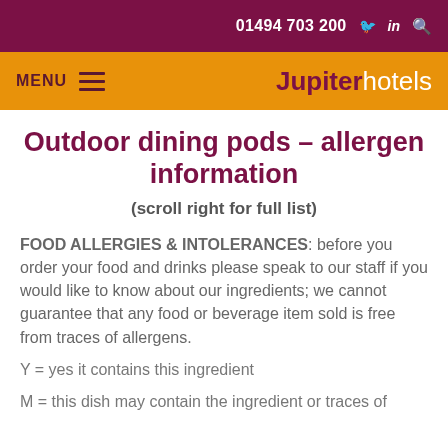01494 703 200
MENU   Jupiter hotels
Outdoor dining pods – allergen information
(scroll right for full list)
FOOD ALLERGIES & INTOLERANCES: before you order your food and drinks please speak to our staff if you would like to know about our ingredients; we cannot guarantee that any food or beverage item sold is free from traces of allergens.
Y = yes it contains this ingredient
M = this dish may contain the ingredient or traces of